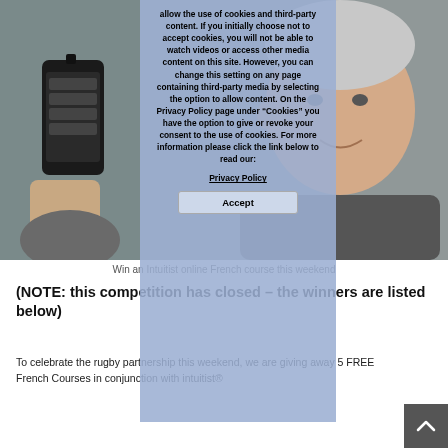[Figure (photo): Left half: person holding a smartphone displaying an app. Right half: older man with grey hair, partially visible. A blue-grey cookie consent overlay covers the center of the image.]
allow the use of cookies and third-party content. If you initially choose not to accept cookies, you will not be able to watch videos or access other media content on this site. However, you can change this setting on any page containing third-party media by selecting the option to allow content. On the Privacy Policy page under “Cookies” you have the option to give or revoke your consent to the use of cookies. For more information please click the link below to read our:
Privacy Policy
Accept
Win an Intuitist online French course this weekend
(NOTE: this competition has closed – the winners are listed below)
To celebrate the rugby partership this weekend, we are giving away 5 FREE French Courses in conjunction with intuitist®